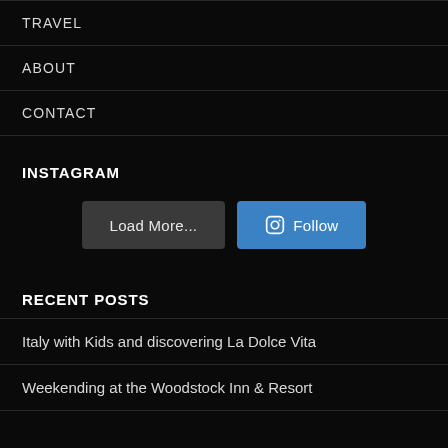TRAVEL
ABOUT
CONTACT
INSTAGRAM
Load More...  Follow
RECENT POSTS
Italy with Kids and discovering La Dolce Vita
Weekending at the Woodstock Inn & Resort